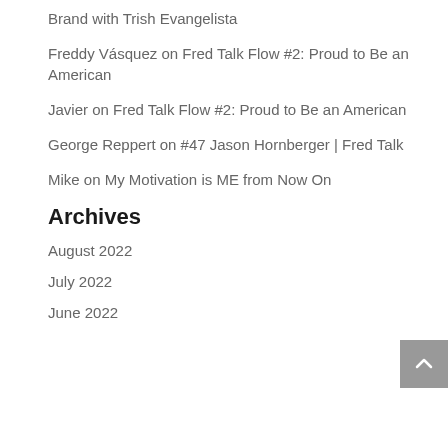Brand with Trish Evangelista
Freddy Vásquez on Fred Talk Flow #2: Proud to Be an American
Javier on Fred Talk Flow #2: Proud to Be an American
George Reppert on #47 Jason Hornberger | Fred Talk
Mike on My Motivation is ME from Now On
Archives
August 2022
July 2022
June 2022